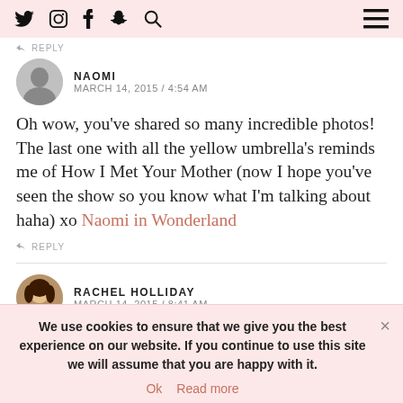Social media icons nav bar with Twitter, Instagram, Facebook, Snapchat, Search icons and hamburger menu
↩ REPLY
NAOMI
MARCH 14, 2015 / 4:54 AM
Oh wow, you've shared so many incredible photos! The last one with all the yellow umbrella's reminds me of How I Met Your Mother (now I hope you've seen the show so you know what I'm talking about haha) xo Naomi in Wonderland
↩ REPLY
RACHEL HOLLIDAY
MARCH 14, 2015 / 8:41 AM
We use cookies to ensure that we give you the best experience on our website. If you continue to use this site we will assume that you are happy with it.
Ok   Read more